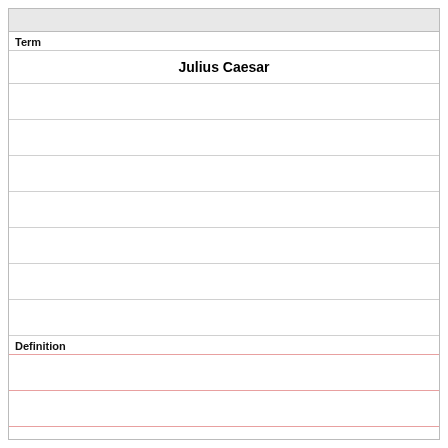| Term |
| --- |
| Julius Caesar |
|  |
|  |
|  |
|  |
|  |
|  |
| Definition |
|  |
|  |
|  |
|  |
|  |
|  |